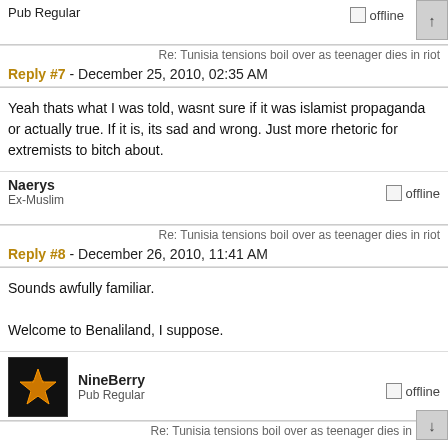Pub Regular
offline
Re: Tunisia tensions boil over as teenager dies in riot
Reply #7 - December 25, 2010, 02:35 AM
Yeah thats what I was told, wasnt sure if it was islamist propaganda or actually true. If it is, its sad and wrong. Just more rhetoric for extremists to bitch about.
Naerys
Ex-Muslim
offline
Re: Tunisia tensions boil over as teenager dies in riot
Reply #8 - December 26, 2010, 11:41 AM
Sounds awfully familiar.
Welcome to Benaliland, I suppose.
NineBerry
Pub Regular
offline
Re: Tunisia tensions boil over as teenager dies in